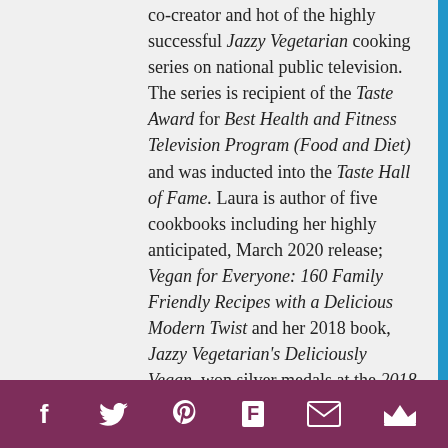co-creator and hot of the highly successful Jazzy Vegetarian cooking series on national public television. The series is recipient of the Taste Award for Best Health and Fitness Television Program (Food and Diet) and was inducted into the Taste Hall of Fame. Laura is author of five cookbooks including her highly anticipated, March 2020 release; Vegan for Everyone: 160 Family Friendly Recipes with a Delicious Modern Twist and her 2018 book, Jazzy Vegetarian's Deliciously Vegan, won silver medals at the 2018 IBPA Benjamin Franklin Awards, Midwest Book Awards and the 2019 Living Now Book Awards. in addition, Laura is host of the weekly Jazzy Vegetarian Podcast on Unity Radio.
Social media icons: Facebook, Twitter, Pinterest, Flipboard, Email, Crown